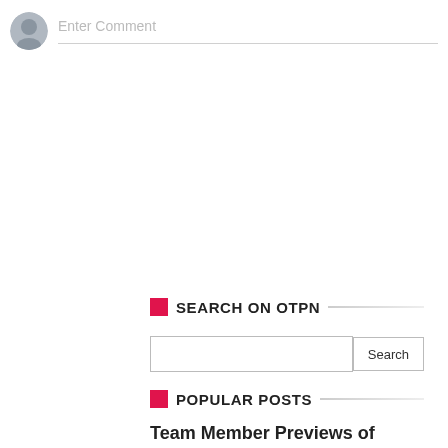[Figure (illustration): Gray circular avatar/profile icon on the left side of a comment input area]
Enter Comment
SEARCH ON OTPN
Search
POPULAR POSTS
Team Member Previews of Revenge